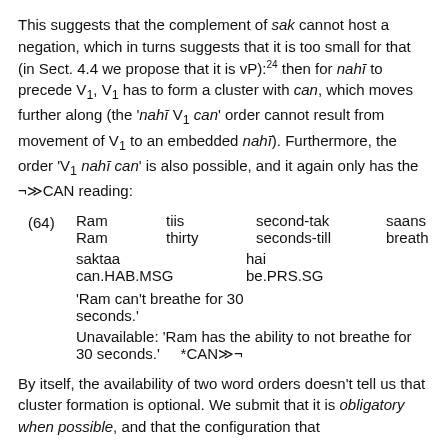This suggests that the complement of sak cannot host a negation, which in turns suggests that it is too small for that (in Sect. 4.4 we propose that it is vP):^24 then for nahī to precede V1, V1 has to form a cluster with can, which moves further along (the 'nahī V1 can' order cannot result from movement of V1 to an embedded nahī). Furthermore, the order 'V1 nahī can' is also possible, and it again only has the ¬≫CAN reading:
(64) Ram tiis second-tak saans le nahī
     Ram thirty seconds-till breath take NEG
     saktaa     hai
     can.HAB.MSG  be.PRS.SG
     'Ram can't breathe for 30 seconds.'   ✓¬≫CA
     Unavailable: 'Ram has the ability to not breathe for 30 seconds.'  *CAN≫¬
By itself, the availability of two word orders doesn't tell us that cluster formation is optional. We submit that it is obligatory when possible, and that the configuration that